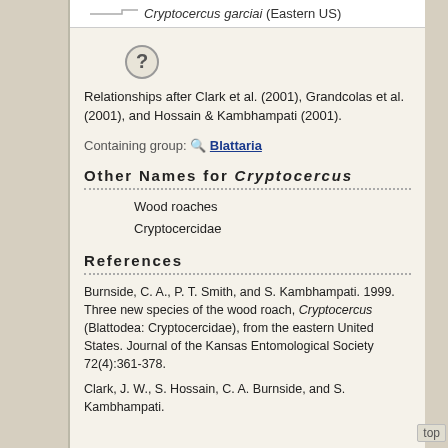Cryptocercus garciai (Eastern US)
[Figure (illustration): Gray circle with question mark icon]
Relationships after Clark et al. (2001), Grandcolas et al. (2001), and Hossain & Kambhampati (2001).
Containing group: 🔍 Blattaria
Other Names for Cryptocercus
Wood roaches
Cryptocercidae
References
Burnside, C. A., P. T. Smith, and S. Kambhampati. 1999. Three new species of the wood roach, Cryptocercus (Blattodea: Cryptocercidae), from the eastern United States. Journal of the Kansas Entomological Society 72(4):361-378.
Clark, J. W., S. Hossain, C. A. Burnside, and S. Kambhampati.